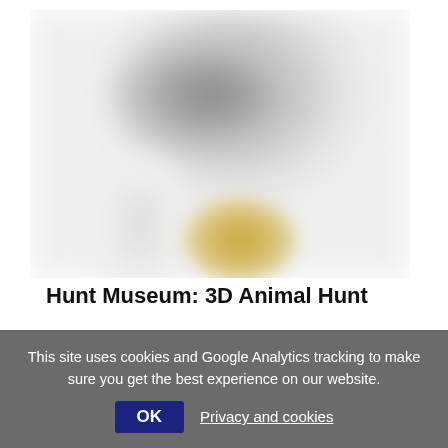[Figure (photo): Blurred/obscured image of a 3D animal sculpture, with dark grey upper portion and golden/tan lower portion, shown on white background]
Hunt Museum: 3D Animal Hunt
Craft • Drawing • Educational • Kids • View collection • Visual • Visual Culture
Add to my list
This site uses cookies and Google Analytics tracking to make sure you get the best experience on our website.
OK  Privacy and cookies